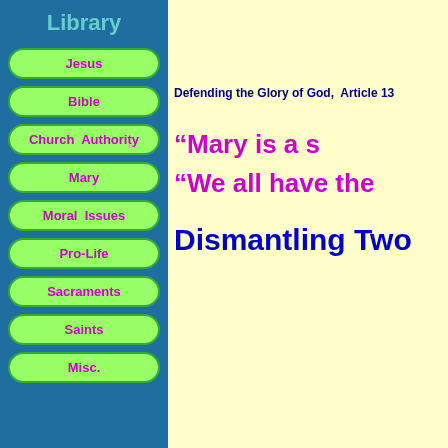Library
Jesus
Bible
Church Authority
Mary
Moral Issues
Pro-Life
Sacraments
Saints
Misc.
[Figure (logo): DEFE logo with dark blue background and repeating pattern]
Defending the Glory of God, Article 13
“Mary is a s
“We all have the
Dismantling Two